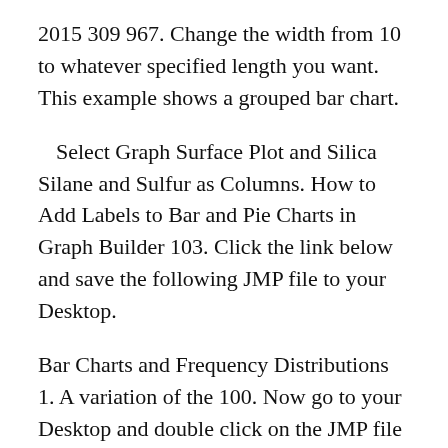2015 309 967. Change the width from 10 to whatever specified length you want. This example shows a grouped bar chart.
Select Graph Surface Plot and Silica Silane and Sulfur as Columns. How to Add Labels to Bar and Pie Charts in Graph Builder 103. Click the link below and save the following JMP file to your Desktop.
Bar Charts and Frequency Distributions 1. A variation of the 100. Now go to your Desktop and double click on the JMP file you just downloaded.